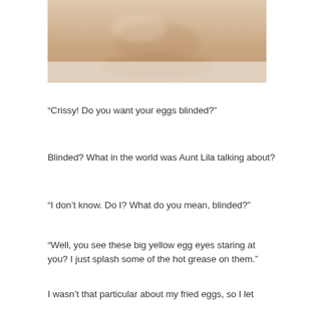[Figure (photo): Close-up photo of a person's lower face/chin area, blurred, with warm skin tones. Only the chin and lower jaw area are visible.]
“Crissy! Do you want your eggs blinded?”
Blinded? What in the world was Aunt Lila talking about?
“I don’t know. Do I? What do you mean, blinded?”
“Well, you see these big yellow egg eyes staring at you? I just splash some of the hot grease on them.”
I wasn’t that particular about my fried eggs, so I let